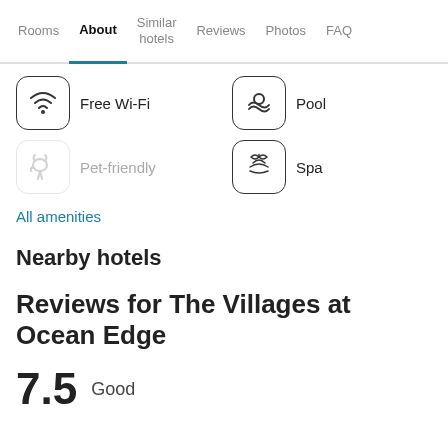Rooms | About | Similar hotels | Reviews | Photos | FAQ
[Figure (illustration): Wi-Fi icon in rounded square box with label Free Wi-Fi]
Free Wi-Fi
[Figure (illustration): Pool/swim icon in rounded square box with label Pool]
Pool
[Figure (illustration): Pet (dog) icon in rounded square box, faded, with label Pet-friendly]
Pet-friendly
[Figure (illustration): Spa/lotus flower icon in rounded square box with label Spa]
Spa
All amenities
Nearby hotels
Reviews for The Villages at Ocean Edge
7.5   Good